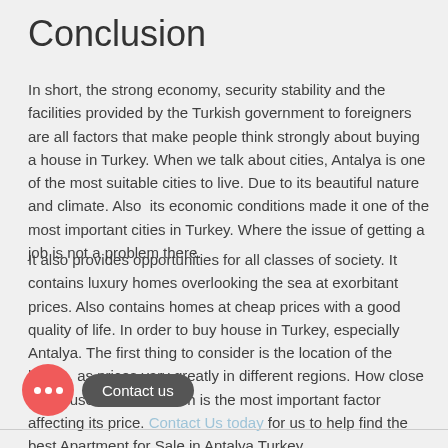Conclusion
In short, the strong economy, security stability and the facilities provided by the Turkish government to foreigners are all factors that make people think strongly about buying a house in Turkey. When we talk about cities, Antalya is one of the most suitable cities to live. Due to its beautiful nature and climate. Also  its economic conditions made it one of the most important cities in Turkey. Where the issue of getting a job is not a problem there.
It also provides opportunities for all classes of society. It contains luxury homes overlooking the sea at exorbitant prices. Also contains homes at cheap prices with a good quality of life. In order to buy house in Turkey, especially Antalya. The first thing to consider is the location of the house, as prices vary greatly in different regions. How close the house is to the beach is the most important factor affecting its price. Contact Us today for us to help find the best Apartment for Sale in Antalya Turkey.
[Figure (other): Chat widget showing a red circular chat bubble button with three white dots, and a dark grey 'Contact us' speech bubble tooltip next to it.]